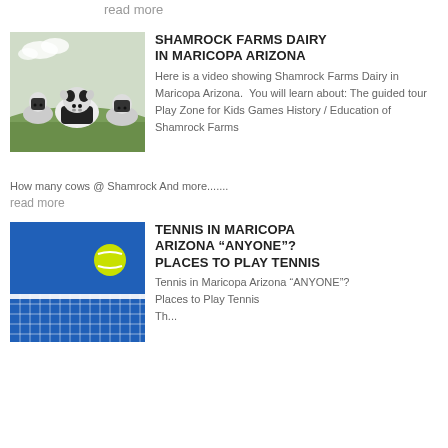read more
[Figure (photo): A group of black and white dairy cows standing in a green grassy field, looking at the camera.]
SHAMROCK FARMS DAIRY IN MARICOPA ARIZONA
Here is a video showing Shamrock Farms Dairy in Maricopa Arizona. You will learn about: The guided tour Play Zone for Kids Games History / Education of Shamrock Farms How many cows @ Shamrock And more.......
read more
[Figure (photo): A tennis ball flying above a tennis net against a bright blue sky.]
TENNIS IN MARICOPA ARIZONA “ANYONE”? PLACES TO PLAY TENNIS
Tennis in Maricopa Arizona “ANYONE”? Places to Play Tennis Th...